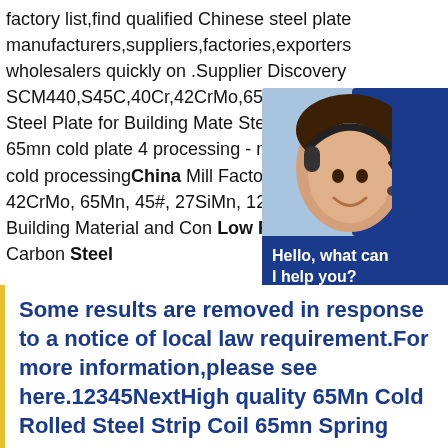factory list,find qualified Chinese steel plate manufacturers,suppliers,factories,exporters wholesalers quickly on .Supplier Discovery SCM440,S45C,40Cr,42CrMo,65Mn,45#, Rolled Alloy Steel Plate for Building Mate Steel Plate ASTM A36 65mn cold plate 4 processing - m.made-in-china 65mn cold processing China Mill Factory (ASTM 414 40Cr, 42CrMo, 65Mn, 45#, 27SiMn, 12Cr Steel Plate for Building Material and Con Low Price Plain AISI 1020 Carbon Steel
[Figure (infographic): Customer service advertisement box with a photo of a woman wearing a headset, dark blue background, text reading 'Hello, what can I help you?', '7×24 Online', a 'Get Quote' button, and email 'bsteel1@163.com']
Some results are removed in response to a notice of local law requirement.For more information,please see here.12345NextHigh quality 65Mn Cold Rolled Steel Strip Coil 65mn Spring